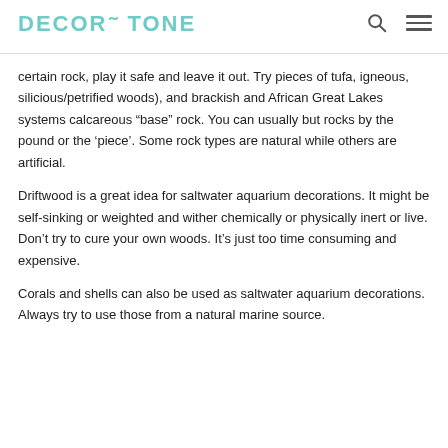DECORTONE
certain rock, play it safe and leave it out. Try pieces of tufa, igneous, silicious/petrified woods), and brackish and African Great Lakes systems calcareous “base” rock. You can usually but rocks by the pound or the ‘piece’. Some rock types are natural while others are artificial.
Driftwood is a great idea for saltwater aquarium decorations. It might be self-sinking or weighted and wither chemically or physically inert or live. Don’t try to cure your own woods. It’s just too time consuming and expensive.
Corals and shells can also be used as saltwater aquarium decorations. Always try to use those from a natural marine source.